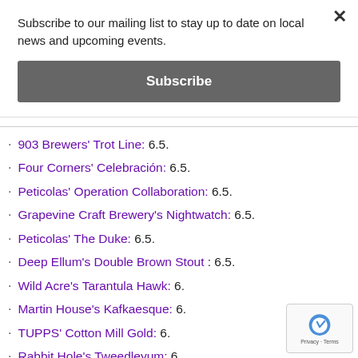Subscribe to our mailing list to stay up to date on local news and upcoming events.
Subscribe
903 Brewers' Trot Line: 6.5.
Four Corners' Celebración: 6.5.
Peticolas' Operation Collaboration: 6.5.
Grapevine Craft Brewery's Nightwatch: 6.5.
Peticolas' The Duke: 6.5.
Deep Ellum's Double Brown Stout : 6.5.
Wild Acre's Tarantula Hawk: 6.
Martin House's Kafkaesque: 6.
TUPPS' Cotton Mill Gold: 6.
Rabbit Hole's Tweedleyum: 6.
Rabbit Hole's Off With Your Red: 6.
Cedar Creek's Elliott's Phoned Home Pale Ale: 6
Grapevine Craft Brewery's Lakefire: 6
Armadillo Ale Works' WunderMelon: 6
Deep Ellum Pale Ale: 6